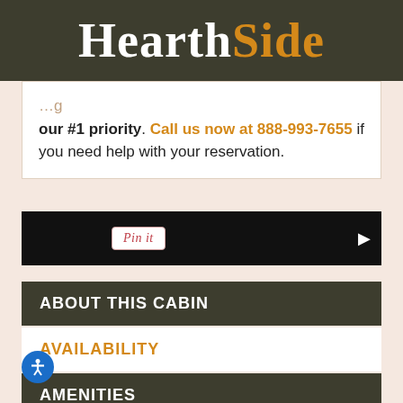HearthSide
our #1 priority. Call us now at 888-993-7655 if you need help with your reservation.
[Figure (screenshot): Black video player bar with a Pinterest 'Pin it' button and a play arrow on the right]
ABOUT THIS CABIN
AVAILABILITY
AMENITIES
REVIEWS